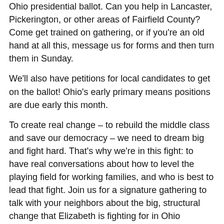Ohio presidential ballot. Can you help in Lancaster, Pickerington, or other areas of Fairfield County? Come get trained on gathering, or if you're an old hand at all this, message us for forms and then turn them in Sunday.
We'll also have petitions for local candidates to get on the ballot! Ohio's early primary means positions are due early this month.
To create real change – to rebuild the middle class and save our democracy – we need to dream big and fight hard. That's why we're in this fight: to have real conversations about how to level the playing field for working families, and who is best to lead that fight. Join us for a signature gathering to talk with your neighbors about the big, structural change that Elizabeth is fighting for in Ohio
Please RSVP here:
https://www.mobilize.us/ohioforwarren/event/167869/
for more information